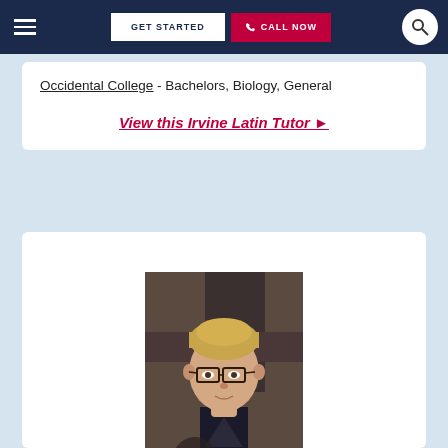GET STARTED | CALL NOW
Occidental College - Bachelors, Biology, General
View this Irvine Latin Tutor ▶
[Figure (photo): Portrait photo of a young man with short blonde hair, wearing glasses and a dark blazer, smiling slightly, photographed at an indoor event]